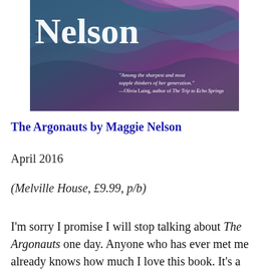[Figure (photo): Book cover of The Argonauts by Maggie Nelson — dark teal and purple wavy water texture with large white 'Nelson' text and a quote from Olivia Laing]
The Argonauts by Maggie Nelson
April 2016
(Melville House, £9.99, p/b)
I'm sorry I promise I will stop talking about The Argonauts one day. Anyone who has ever met me already knows how much I love this book. It's a memoir about gender, fluidity, queer family, making